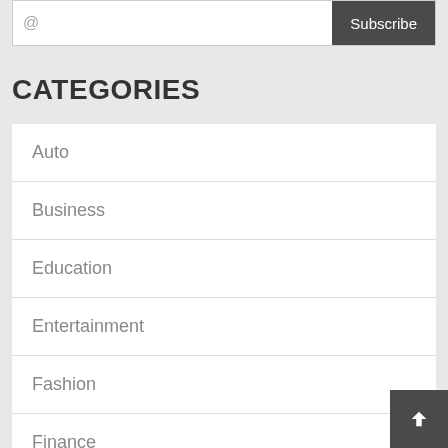@
Subscribe
CATEGORIES
Auto
Business
Education
Entertainment
Fashion
Finance
Food
Games